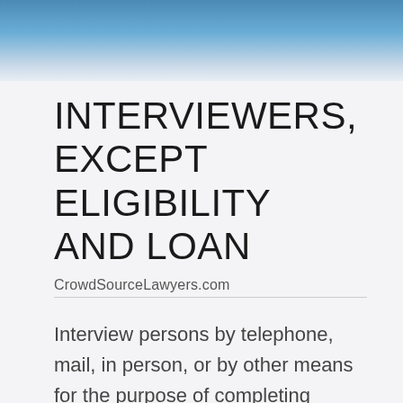INTERVIEWERS, EXCEPT ELIGIBILITY AND LOAN
CrowdSourceLawyers.com
Interview persons by telephone, mail, in person, or by other means for the purpose of completing forms, applications, or